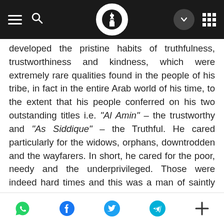[Navigation bar with hamburger menu, search, logo, chevron, and grid icons]
developed the pristine habits of truthfulness, trustworthiness and kindness, which were extremely rare qualities found in the people of his tribe, in fact in the entire Arab world of his time, to the extent that his people conferred on his two outstanding titles i.e. "Al Amin" – the trustworthy and "As Siddique" – the Truthful. He cared particularly for the widows, orphans, downtrodden and the wayfarers. In short, he cared for the poor, needy and the underprivileged. Those were indeed hard times and this was a man of saintly qualities born in their midst.
He learned the art of trading from his paternal
[Social share icons: WhatsApp, Facebook, Twitter, Telegram, More]